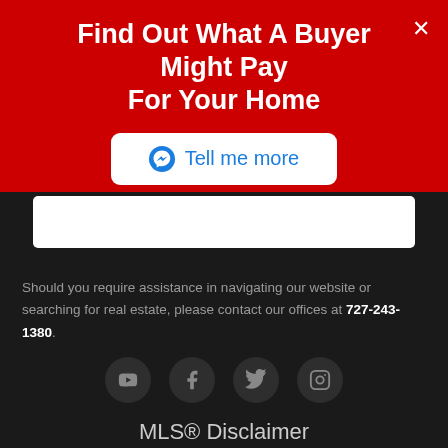Find Out What A Buyer Might Pay For Your Home
Tell me more
Should you require assistance in navigating our website or searching for real estate, please contact our offices at 727-243-1380.
[Figure (infographic): Row of four social media icon circles: YouTube, Facebook, Twitter, Instagram]
MLS® Disclaimer
[Figure (logo): Stellar MLS logo with starburst icon in purple/teal and text 'Stellar MLS' in purple and teal]
Copyright © MFRMLS.com All information deemed reliable but not guaranteed. All properties